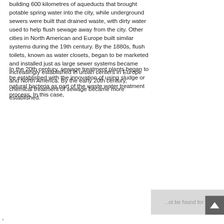building 600 kilometres of aqueducts that brought potable spring water into the city, while underground sewers were built that drained waste, with dirty water used to help flush sewage away from the city. Other cities in North American and Europe built similar systems during the 19th century. By the 1880s, flush toilets, known as water closets, began to be marketed and installed just as large sewer systems became increasingly established in urban centers in Europe and North America. By the early 20th century, chemical treatment of sewage became more established.
In the 20th century, sewage treatment plants began to be established with the innovation of using sludge or natural bacteria as part of the waste water treatment process. In this case,